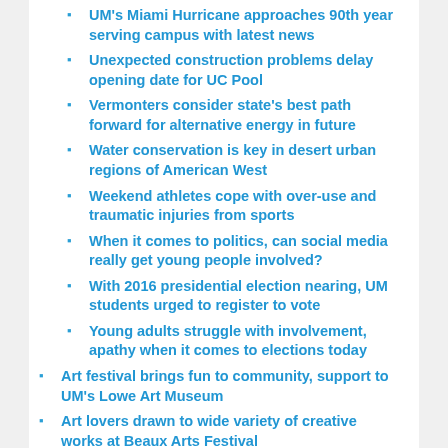UM's Miami Hurricane approaches 90th year serving campus with latest news
Unexpected construction problems delay opening date for UC Pool
Vermonters consider state's best path forward for alternative energy in future
Water conservation is key in desert urban regions of American West
Weekend athletes cope with over-use and traumatic injuries from sports
When it comes to politics, can social media really get young people involved?
With 2016 presidential election nearing, UM students urged to register to vote
Young adults struggle with involvement, apathy when it comes to elections today
Art festival brings fun to community, support to UM's Lowe Art Museum
Art lovers drawn to wide variety of creative works at Beaux Arts Festival
Band of the Hour's new director brings intensity, high expectations, excitement